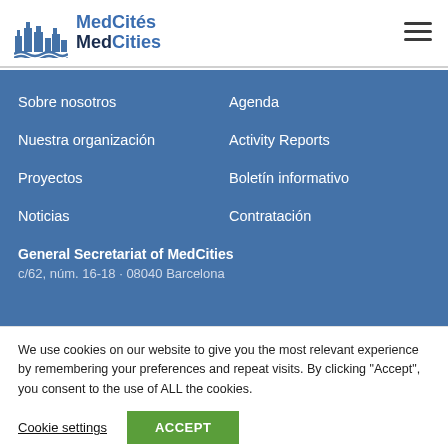[Figure (logo): MedCités MedCities logo with stylized city skyline icon in blue]
Sobre nosotros
Agenda
Nuestra organización
Activity Reports
Proyectos
Boletín informativo
Noticias
Contratación
General Secretariat of MedCities
c/62, núm. 16-18 · 08040 Barcelona
We use cookies on our website to give you the most relevant experience by remembering your preferences and repeat visits. By clicking "Accept", you consent to the use of ALL the cookies.
Cookie settings
ACCEPT